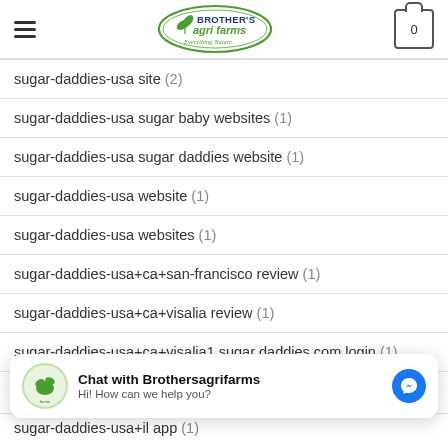Brother's Agri Farms — Everything Nature
sugar-daddies-usa site (2)
sugar-daddies-usa sugar baby websites (1)
sugar-daddies-usa sugar daddies website (1)
sugar-daddies-usa website (1)
sugar-daddies-usa websites (1)
sugar-daddies-usa+ca+san-francisco review (1)
sugar-daddies-usa+ca+visalia review (1)
sugar-daddies-usa+ca+visalia1 sugar daddies com login (1)
sugar-daddies-usa+il app (1)